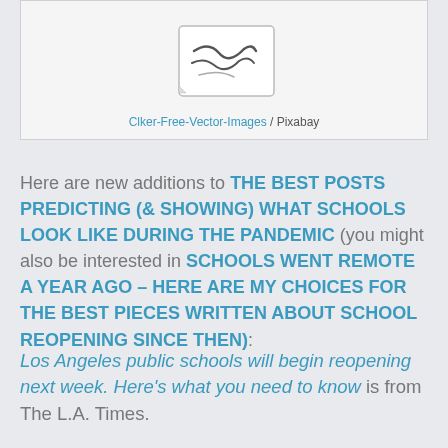[Figure (illustration): A sketch/illustration of a signature or handwriting on a card-like shape, shown at the top of the page inside a light gray box]
Clker-Free-Vector-Images / Pixabay
Here are new additions to THE BEST POSTS PREDICTING (& SHOWING) WHAT SCHOOLS LOOK LIKE DURING THE PANDEMIC (you might also be interested in SCHOOLS WENT REMOTE A YEAR AGO – HERE ARE MY CHOICES FOR THE BEST PIECES WRITTEN ABOUT SCHOOL REOPENING SINCE THEN):
Los Angeles public schools will begin reopening next week. Here's what you need to know is from The L.A. Times.